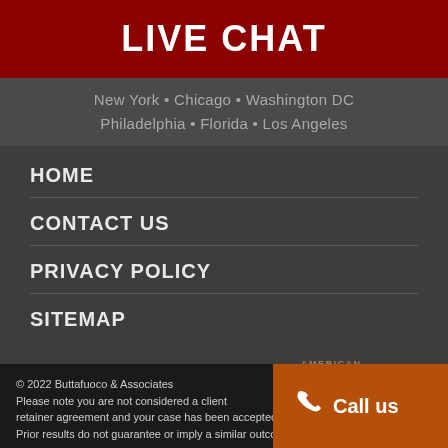LIVE CHAT
New York • Chicago • Washington DC
Philadelphia • Florida • Los Angeles
HOME
CONTACT US
PRIVACY POLICY
SITEMAP
PROUD MEMBERS OF   AMERICAN ASSOCIATION for JUSTICE
© 2022 Buttafuoco & Associates
Please note you are not considered a client retainer agreement and your case has been accepted by our
Prior results do not guarantee or imply a similar outcome